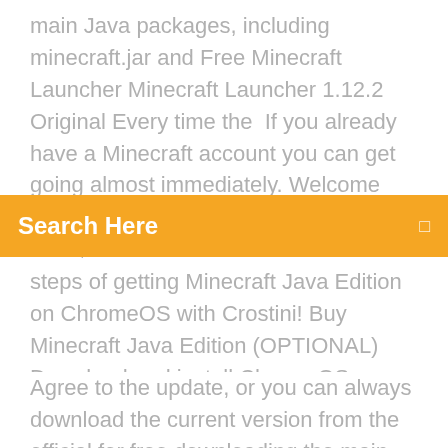main Java packages, including minecraft.jar and Free Minecraft Launcher Minecraft Launcher 1.12.2 Original Every time the  If you already have a Minecraft account you can get going almost immediately. Welcome home. Register an Account. Mojang © 2020; Terms and Conditions  25 Nov 2019 Berikut cara download Minecraft Pocket Edition. Setelah itu kalian klik tombol
Search Here
steps of getting Minecraft Java Edition on ChromeOS with Crostini! Buy Minecraft Java Edition (OPTIONAL) Download and install ChromeOS update. 11. (For ChromeOS 76+) Launch Minecraft Launcher 14. Play Minecraft.
Agree to the update, or you can always download the current version from the official for free downloading the main Java packages, including minecraft.jar and Free Minecraft Launcher Minecraft Launcher 1.12.2 Original Every time the  If you already have a Minecraft account you can get going almost